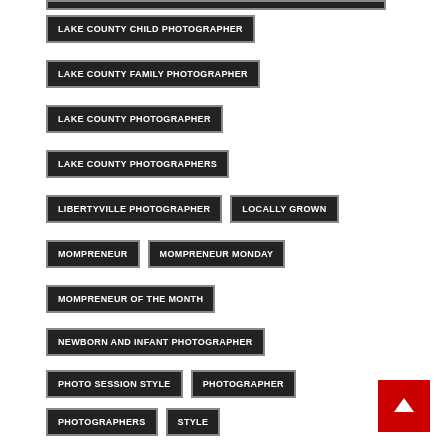LAKE COUNTY CHILD PHOTOGRAPHER
LAKE COUNTY FAMILY PHOTOGRAPHER
LAKE COUNTY PHOTOGRAPHER
LAKE COUNTY PHOTOGRAPHERS
LIBERTYVILLE PHOTOGRAPHER
LOCALLY GROWN
MOMPRENEUR
MOMPRENEUR MONDAY
MOMPRENEUR OF THE MONTH
NEWBORN AND INFANT PHOTOGRAPHER
PHOTO SESSION STYLE
PHOTOGRAPHER
PHOTOGRAPHERS
STYLE
SUCCESSFUL PHOTOGRAPHY SESSION